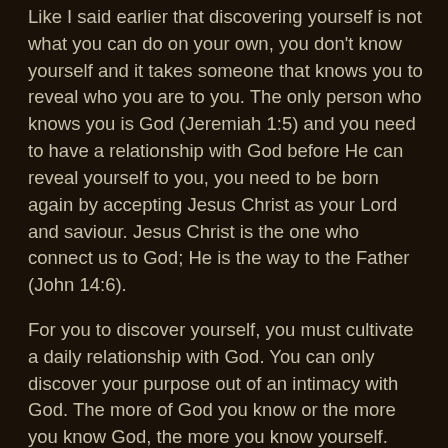Like I said earlier that discovering yourself is not what you can do on your own, you don't know yourself and it takes someone that knows you to reveal who you are to you. The only person who knows you is God (Jeremiah 1:5) and you need to have a relationship with God before He can reveal yourself to you, you need to be born again by accepting Jesus Christ as your Lord and saviour. Jesus Christ is the one who connect us to God; He is the way to the Father (John 14:6).
For you to discover yourself, you must cultivate a daily relationship with God. You can only discover your purpose out of an intimacy with God. The more of God you know or the more you know God, the more you know yourself. Before you think of choosing the right partner you must first become the right person. God wants you to know Him before you know the right partner.
Adam had a personal relationship with God before God brought him a wife, let God form you and put you in the right place. You are to carry your relationship with God into your relationship with the opposite sex. Your relationship with God should be guideline for your relationship with the opposite sex. Spend time to study the word of God and let it become a part of you; discover the truth about you from the word of God. When you inquire of God, He...